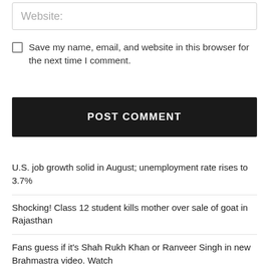Website:
Save my name, email, and website in this browser for the next time I comment.
POST COMMENT
U.S. job growth solid in August; unemployment rate rises to 3.7%
Shocking! Class 12 student kills mother over sale of goat in Rajasthan
Fans guess if it’s Shah Rukh Khan or Ranveer Singh in new Brahmastra video. Watch
ITC shares hit 52-week high, m-cap crosses Rs 4 lakh crore